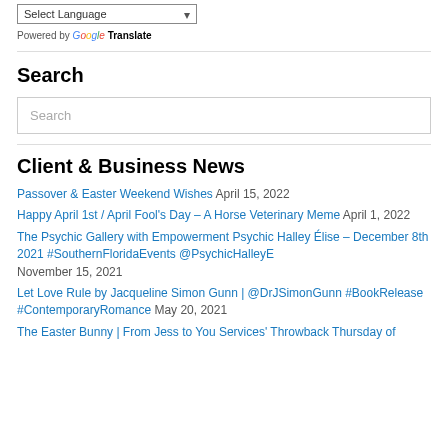[Figure (screenshot): Select Language dropdown widget with arrow]
Powered by Google Translate
Search
Search (input box placeholder)
Client & Business News
Passover & Easter Weekend Wishes April 15, 2022
Happy April 1st / April Fool's Day – A Horse Veterinary Meme April 1, 2022
The Psychic Gallery with Empowerment Psychic Halley Élise – December 8th 2021 #SouthernFloridaEvents @PsychicHalleyE November 15, 2021
Let Love Rule by Jacqueline Simon Gunn | @DrJSimonGunn #BookRelease #ContemporaryRomance May 20, 2021
The Easter Bunny | From Jess to You Services' Throwback Thursday of